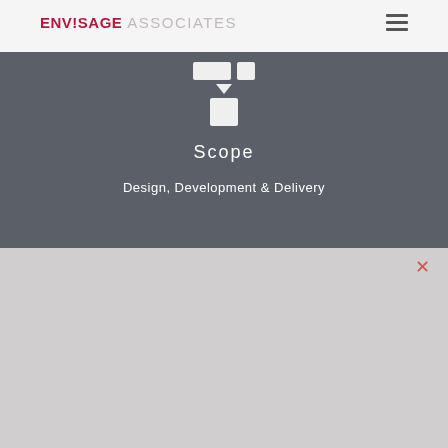ENVISAGE ASSOCIATES
[Figure (illustration): Icon showing connected rectangles with an arrow pointing down to a square, representing a process flow or delivery diagram, on dark grey background]
Scope
Design, Development & Delivery
This website uses cookies to ensure you get the best experience on our website and for marketing.
Accept & Close
Decline